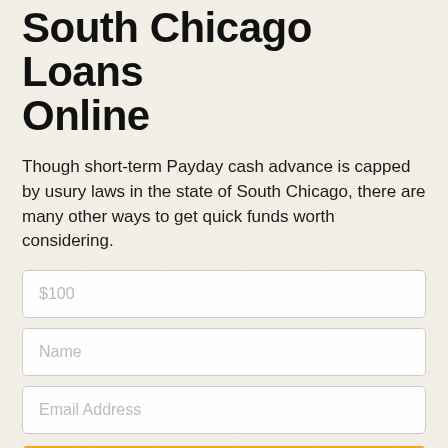South Chicago Loans Online
Though short-term Payday cash advance is capped by usury laws in the state of South Chicago, there are many other ways to get quick funds worth considering.
[Figure (screenshot): Web form with three input fields: a loan amount field showing placeholder '$100', a name field showing placeholder 'Name', an email field showing placeholder 'Email Address', and a yellow 'GET STARTED NOW' button.]